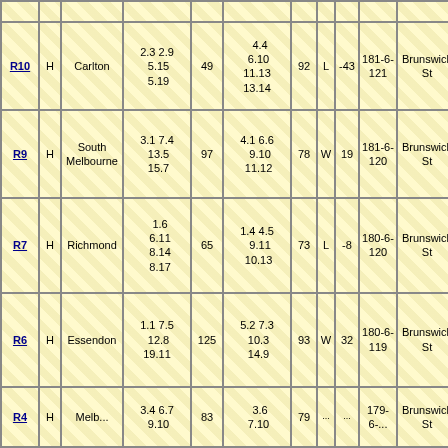| Round | H/A | Opponent | Score (Q1 Q2 Q3 Final) | Attendance | Opponent Score | Points | W/L | Margin | Record | Venue |
| --- | --- | --- | --- | --- | --- | --- | --- | --- | --- | --- |
| R10 | H | Carlton | 2.3 2.9
5.15
5.19 | 49 | 4.4
6.10
11.13
13.14 | 92 | L | -43 | 181-6-121 | Brunswick St |
| R9 | H | South Melbourne | 3.1 7.4
13.5
15.7 | 97 | 4.1 6.6
9.10
11.12 | 78 | W | 19 | 181-6-120 | Brunswick St |
| R7 | H | Richmond | 1.6
6.11
8.14
8.17 | 65 | 1.4 4.5
9.11
10.13 | 73 | L | -8 | 180-6-120 | Brunswick St |
| R6 | H | Essendon | 1.1 7.5
12.8
19.11 | 125 | 5.2 7.3
10.3
14.9 | 93 | W | 32 | 180-6-119 | Brunswick St |
| R4 | H | Melb... | 3.4 6.7
9.10 | 83 | 3.6
7.10 | 79 | ... | ... | 179-6-... | Brunswick St |